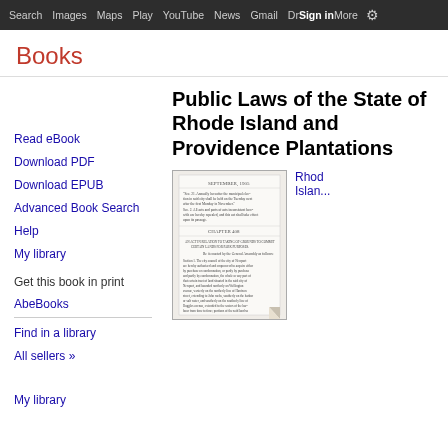Search | Images | Maps | Play | YouTube | News | Gmail | Drive | More | Sign in | Settings
Books
Read eBook
Download PDF
Download EPUB
Advanced Book Search
Help
My library
Get this book in print
AbeBooks
Find in a library
All sellers »
My library
Public Laws of the State of Rhode Island and Providence Plantations
[Figure (photo): Thumbnail of book page showing September chapter text]
Rhode Island...